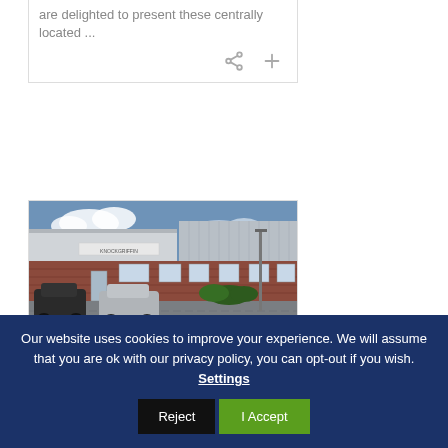are delighted to present these centrally located ...
[Figure (photo): Exterior photo of Unit 9, Knockgriffin Industrial Estate — a single-storey industrial unit with brick lower facade and metal cladding, with cars parked in front.]
Unit 9, Knockgriffin Industrial Estate, Knoc...
Our website uses cookies to improve your experience. We will assume that you are ok with our privacy policy, you can opt-out if you wish. Settings  Reject  I Accept